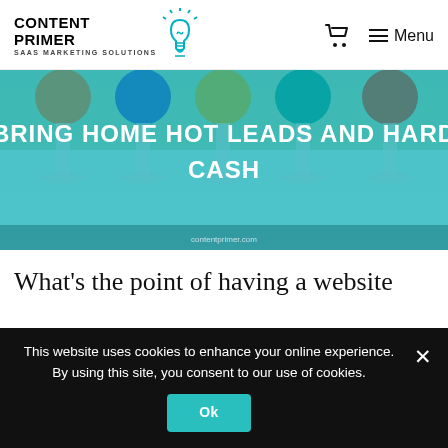CONTENT PRIMER — SAAS MARKETING SOLUTIONS | Cart | Menu
[Figure (photo): Hero banner image of colorful cocktail glasses in a row with teal/cyan overlay, text overlay reading BRING HOME HOT LEADS AND HARD CASH]
BRING HOME HOT LEADS AND HARD CASH
What's the point of having a website
This website uses cookies to enhance your online experience. By using this site, you consent to our use of cookies.